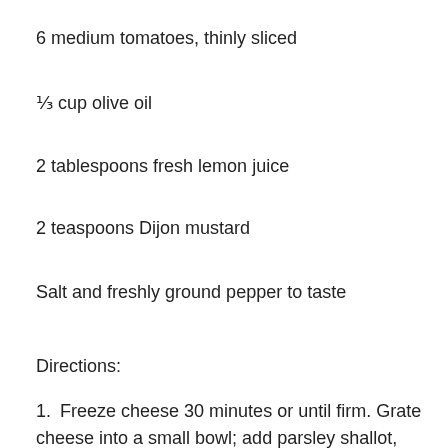6 medium tomatoes, thinly sliced
⅓ cup olive oil
2 tablespoons fresh lemon juice
2 teaspoons Dijon mustard
Salt and freshly ground pepper to taste
Directions:
1. Freeze cheese 30 minutes or until firm. Grate cheese into a small bowl; add parsley shallot, and basil, stirring gently to combine. Arrange tomato slices on a large serving platter. Sprinkle cheese mixture over tomato slices.